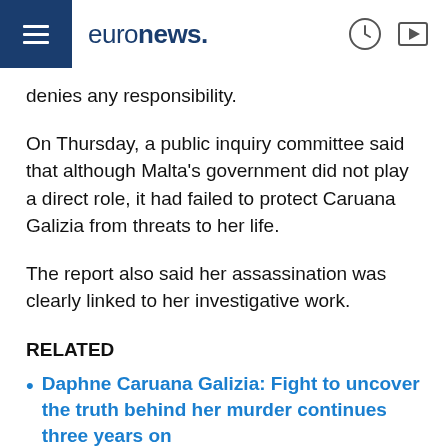euronews.
denies any responsibility.
On Thursday, a public inquiry committee said that although Malta's government did not play a direct role, it had failed to protect Caruana Galizia from threats to her life.
The report also said her assassination was clearly linked to her investigative work.
RELATED
Daphne Caruana Galizia: Fight to uncover the truth behind her murder continues three years on
A "culture of impunity" had developed in the highest levels of the Maltese government in the years leading